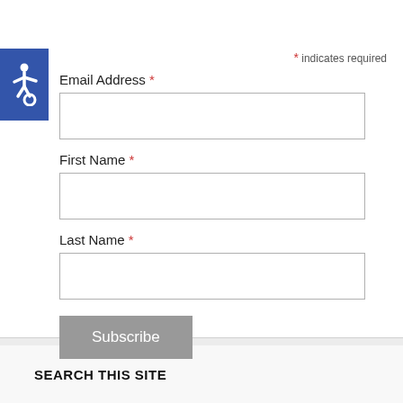[Figure (illustration): Wheelchair accessibility icon — white wheelchair symbol on blue square background]
* indicates required
Email Address *
First Name *
Last Name *
Subscribe
SEARCH THIS SITE